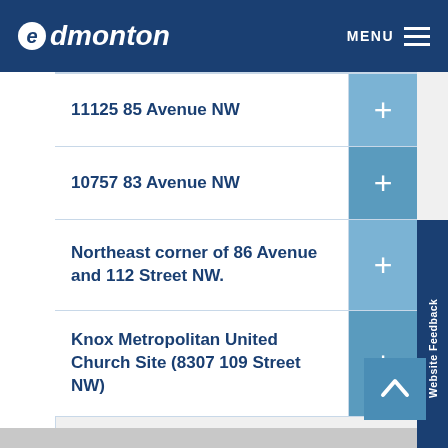Edmonton | MENU
11125 85 Avenue NW
10757 83 Avenue NW
Northeast corner of 86 Avenue and 112 Street NW.
Knox Metropolitan United Church Site (8307 109 Street NW)